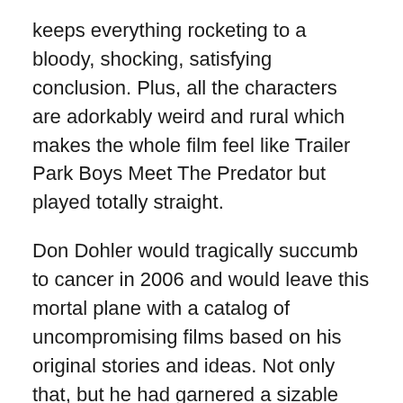keeps everything rocketing to a bloody, shocking, satisfying conclusion. Plus, all the characters are adorkably weird and rural which makes the whole film feel like Trailer Park Boys Meet The Predator but played totally straight.
Don Dohler would tragically succumb to cancer in 2006 and would leave this mortal plane with a catalog of uncompromising films based on his original stories and ideas. Not only that, but he had garnered a sizable cult following in the decades leading up to time. His name might not be a household term like Spielberg, but the man brought his frightening, imaginative, strange ideas to fruition and never gave up despite every hardship that came his way. If you ask me, that doesn't just make Don Dohler a Trash Cinema Legend. That makes this man a